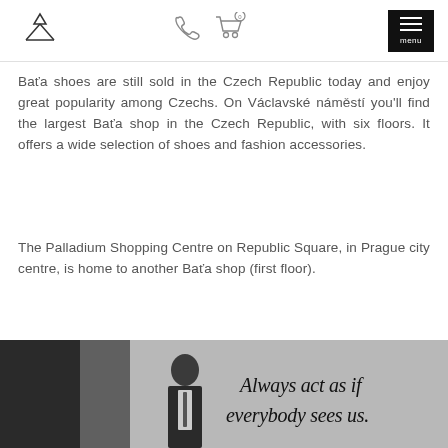[Figure (logo): Bata brand logo — asterisk/person-like symbol in thin lines]
[Figure (illustration): Phone and shopping cart icons in thin outline style]
[Figure (other): Black menu button with three horizontal lines and 'menu' label]
Baťa shoes are still sold in the Czech Republic today and enjoy great popularity among Czechs. On Václavské náměstí you'll find the largest Baťa shop in the Czech Republic, with six floors. It offers a wide selection of shoes and fashion accessories.
The Palladium Shopping Centre on Republic Square, in Prague city centre, is home to another Baťa shop (first floor).
[Figure (photo): Black and white photo of an elderly man in a suit standing in front of a banner that reads 'Always act as if everybody sees us.' in cursive handwriting.]